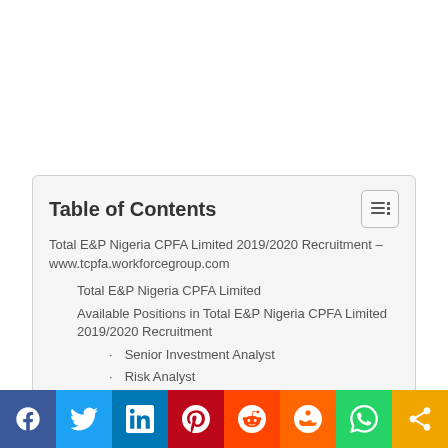Table of Contents
Total E&P Nigeria CPFA Limited 2019/2020 Recruitment – www.tcpfa.workforcegroup.com
Total E&P Nigeria CPFA Limited
Available Positions in Total E&P Nigeria CPFA Limited 2019/2020 Recruitment
Senior Investment Analyst
Risk Analyst
Web Master/Database Administrator
ICT Server Administrator
Human Resource Specialist
Legal Counsel